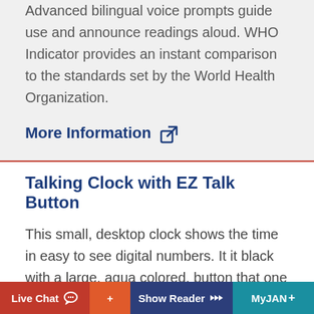Advanced bilingual voice prompts guide use and announce readings aloud. WHO Indicator provides an instant comparison to the standards set by the World Health Organization.
More Information
Talking Clock with EZ Talk Button
This small, desktop clock shows the time in easy to see digital numbers. It it black with a large, aqua colored, button that one pushes to hear the time spoken in a clear female voice. It
Live Chat   +   Show Reader   MyJAN